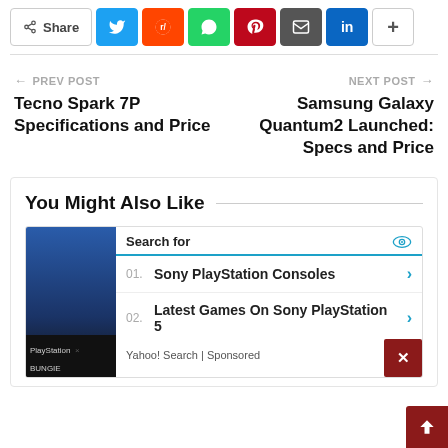[Figure (screenshot): Social share bar with Share label and icons for Twitter, Reddit, WhatsApp, Pinterest, Email, LinkedIn, and More (+)]
← PREV POST
Tecno Spark 7P Specifications and Price
NEXT POST →
Samsung Galaxy Quantum2 Launched: Specs and Price
You Might Also Like
[Figure (screenshot): Ad box with 'Search for' header, items: 01. Sony PlayStation Consoles, 02. Latest Games On Sony PlayStation 5, Yahoo! Search | Sponsored footer, with PlayStation x BUNGIE image at bottom left.]